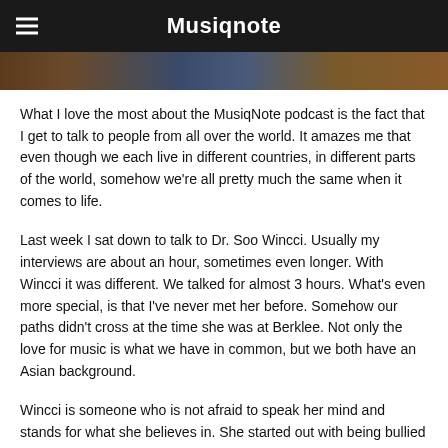Musiqnote
[Figure (photo): Partial hero image showing a person or scene, cropped at top of content area]
What I love the most about the MusiqNote podcast is the fact that I get to talk to people from all over the world. It amazes me that even though we each live in different countries, in different parts of the world, somehow we're all pretty much the same when it comes to life.
Last week I sat down to talk to Dr. Soo Wincci. Usually my interviews are about an hour, sometimes even longer. With Wincci it was different. We talked for almost 3 hours. What's even more special, is that I've never met her before. Somehow our paths didn't cross at the time she was at Berklee. Not only the love for music is what we have in common, but we both have an Asian background.
Wincci is someone who is not afraid to speak her mind and stands for what she believes in. She started out with being bullied as a child, to becoming the most beautiful woman in her country as Miss World Malaysia. Being betrayed by the people around her she lost everything with having only 1 euro left in her pocket. It didn't stop her and she never gave up. Surprisingly she found her way back into the spotlight